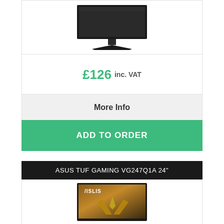[Figure (photo): Gaming monitor on a stand, dark colored, viewed from slightly above front]
£126 inc. VAT
More Info
ADD TO ORDER
ASUS TUF GAMING VG247Q1A 24"
[Figure (photo): ASUS TUF Gaming monitor product image with ASUS logo and golden/orange cosmic background with wing emblem]